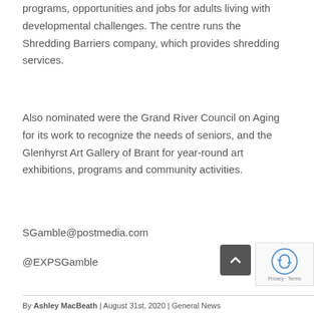programs, opportunities and jobs for adults living with developmental challenges. The centre runs the Shredding Barriers company, which provides shredding services.
Also nominated were the Grand River Council on Aging for its work to recognize the needs of seniors, and the Glenhyrst Art Gallery of Brant for year-round art exhibitions, programs and community activities.
SGamble@postmedia.com
@EXPSGamble
By Ashley MacBeath | August 31st, 2020 | General News